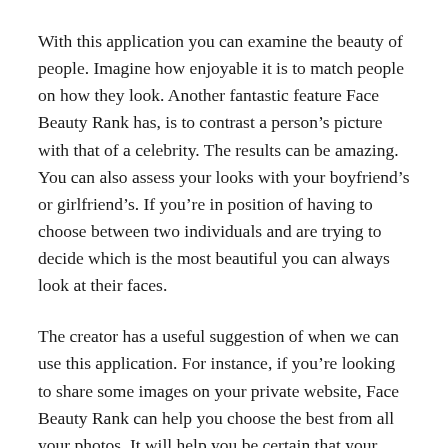With this application you can examine the beauty of people. Imagine how enjoyable it is to match people on how they look. Another fantastic feature Face Beauty Rank has, is to contrast a person’s picture with that of a celebrity. The results can be amazing. You can also assess your looks with your boyfriend’s or girlfriend’s. If you’re in position of having to choose between two individuals and are trying to decide which is the most beautiful you can always look at their faces.
The creator has a useful suggestion of when we can use this application. For instance, if you’re looking to share some images on your private website, Face Beauty Rank can help you choose the best from all your photos. It will help you be certain that your profile photo will appear stunning.